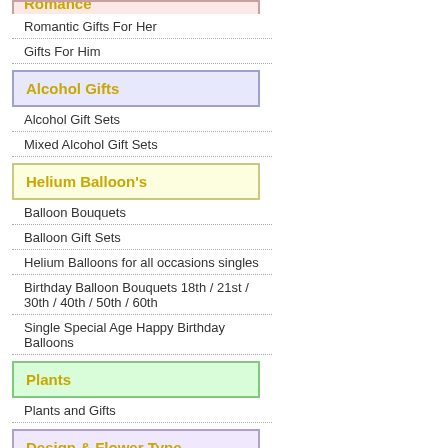Romance (partial/top cut off)
Romantic Gifts For Her
Gifts For Him
Alcohol Gifts
Alcohol Gift Sets
Mixed Alcohol Gift Sets
Helium Balloon's
Balloon Bouquets
Balloon Gift Sets
Helium Balloons for all occasions singles
Birthday Balloon Bouquets 18th / 21st / 30th / 40th / 50th / 60th
Single Special Age Happy Birthday Balloons
Plants
Plants and Gifts
Design & Flower Type
Roses
Lilies (partial)